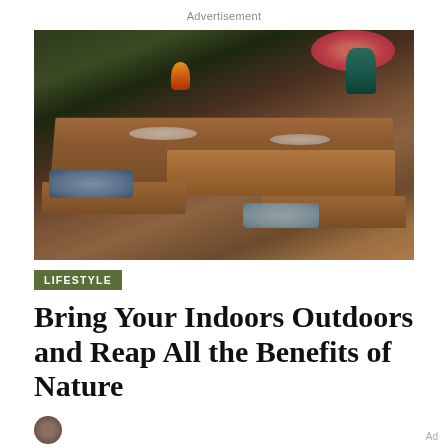Advertisement
[Figure (photo): Outdoor wooden dining table set with plates, glasses, and a teal vase with pink flowers, blue cushions on benches, warm garden background with fire and greenery]
LIFESTYLE
Bring Your Indoors Outdoors and Reap All the Benefits of Nature
Ad